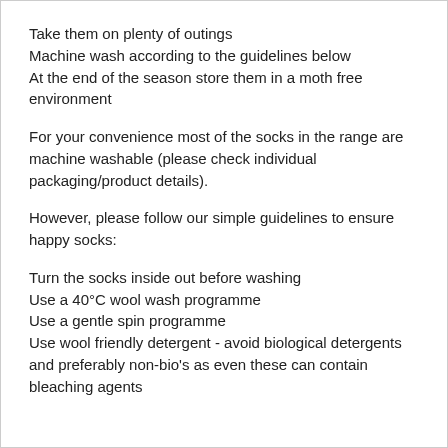Take them on plenty of outings
Machine wash according to the guidelines below
At the end of the season store them in a moth free environment
For your convenience most of the socks in the range are machine washable (please check individual packaging/product details).
However, please follow our simple guidelines to ensure happy socks:
Turn the socks inside out before washing
Use a 40°C wool wash programme
Use a gentle spin programme
Use wool friendly detergent - avoid biological detergents and preferably non-bio's as even these can contain bleaching agents